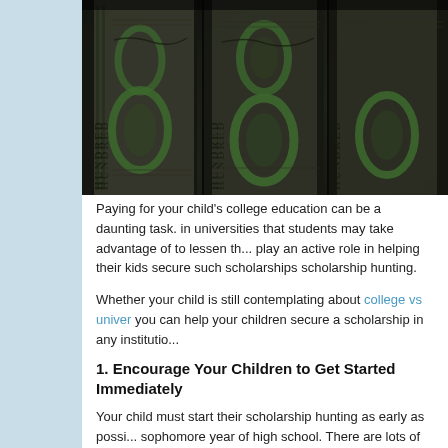[Figure (photo): Close-up photo of US hundred dollar bills fanned out, showing green ink numerals and engraved text]
Paying for your child's college education can be a daunting task. in universities that students may take advantage of to lessen th... play an active role in helping their kids secure such scholarships... scholarship hunting.
Whether your child is still contemplating about college vs univer... you can help your children secure a scholarship in any institutio...
1. Encourage Your Children to Get Started Immediately
Your child must start their scholarship hunting as early as possi... sophomore year of high school. There are lots of scholarships t... money from scholarships often isn't distributed until the end of t...